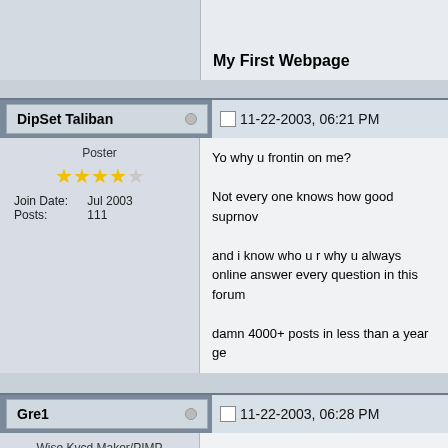My First Webpage
DipSet Taliban    11-22-2003, 06:21 PM
Poster
Join Date: Jul 2003
Posts: 111
Yo why u frontin on me?

Not every one knows how good suprnov

and i know who u r why u always online answer every question in this forum

damn 4000+ posts in less than a year ge
Gre1    11-22-2003, 06:28 PM
Wise Kvcd Maker/PIMP
Veteran
Join Date: May 2003
Don&#39;t get mad because u have 30 a hour and not spam at all so I am not o u said forget kazaa u can never forget ka